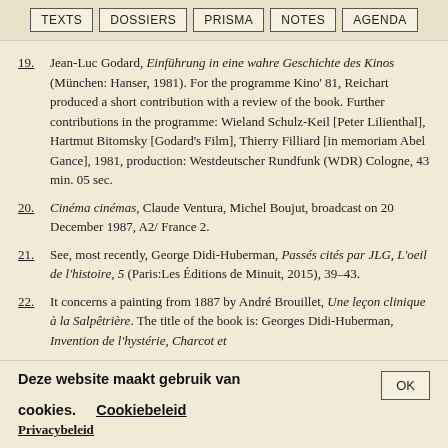TEXTS | DOSSIERS | PRISMA | NOTES | AGENDA
19. Jean-Luc Godard, Einführung in eine wahre Geschichte des Kinos (München: Hanser, 1981). For the programme Kino' 81, Reichart produced a short contribution with a review of the book. Further contributions in the programme: Wieland Schulz-Keil [Peter Lilienthal], Hartmut Bitomsky [Godard's Film], Thierry Filliard [in memoriam Abel Gance], 1981, production: Westdeutscher Rundfunk (WDR) Cologne, 43 min. 05 sec.
20. Cinéma cinémas, Claude Ventura, Michel Boujut, broadcast on 20 December 1987, A2/ France 2.
21. See, most recently, George Didi-Huberman, Passés cités par JLG, L'oeil de l'histoire, 5 (Paris:Les Éditions de Minuit, 2015), 39–43.
22. It concerns a painting from 1887 by André Brouillet, Une leçon clinique à la Salpêtrière. The title of the book is: Georges Didi-Huberman, Invention de l'hystérie, Charcot et
Deze website maakt gebruik van cookies. Cookiebeleid Privacybeleid OK